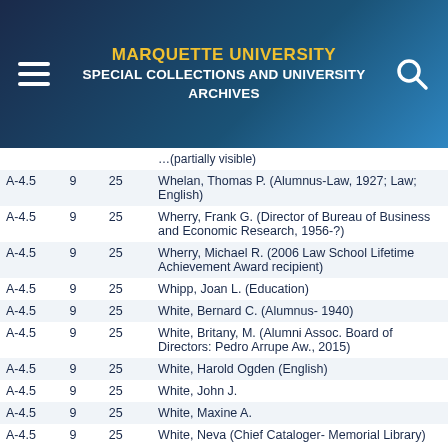MARQUETTE UNIVERSITY SPECIAL COLLECTIONS AND UNIVERSITY ARCHIVES
|  |  |  |  |
| --- | --- | --- | --- |
| A-4.5 | 9 | 25 | Whelan, Thomas P. (Alumnus-Law, 1927; Law; English) |
| A-4.5 | 9 | 25 | Wherry, Frank G. (Director of Bureau of Business and Economic Research, 1956-?) |
| A-4.5 | 9 | 25 | Wherry, Michael R. (2006 Law School Lifetime Achievement Award recipient) |
| A-4.5 | 9 | 25 | Whipp, Joan L. (Education) |
| A-4.5 | 9 | 25 | White, Bernard C. (Alumnus- 1940) |
| A-4.5 | 9 | 25 | White, Britany, M. (Alumni Assoc. Board of Directors: Pedro Arrupe Aw., 2015) |
| A-4.5 | 9 | 25 | White, Harold Ogden (English) |
| A-4.5 | 9 | 25 | White, John J. |
| A-4.5 | 9 | 25 | White, Maxine A. |
| A-4.5 | 9 | 25 | White, Neva (Chief Cataloger- Memorial Library) |